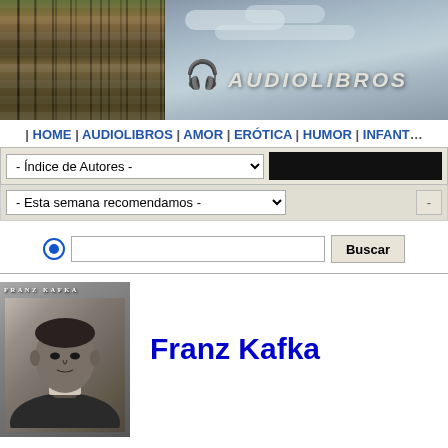[Figure (screenshot): Website header banner with books on left and sky/clouds on right, with headphones icon and AUDIOLIBROS text]
| HOME | AUDIOLIBROS | AMOR | ERÓTICA | HUMOR | INFANT...
- Índice de Autores -
- Esta semana recomendamos -
Buscar
[Figure (photo): Black and white portrait photo of Franz Kafka labeled FRANZ KAFKA at top]
Franz Kafka